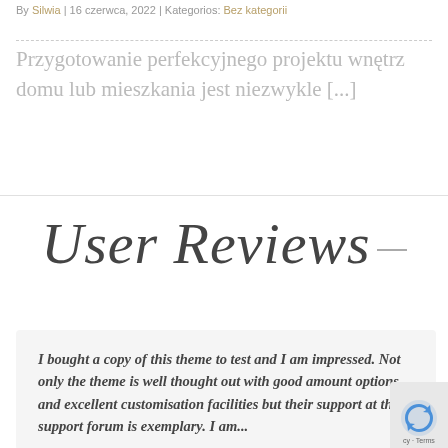By Silwia | 16 czerwca, 2022 | Kategorios: Bez kategorii
Przygotowanie perfekcyjnego projektu wnętrz domu lub mieszkania jest niezwykle [...]
User Reviews
I bought a copy of this theme to test and I am impressed. Not only the theme is well thought out with good amount options and excellent customisation facilities but their support at their support forum is exemplary. I am...